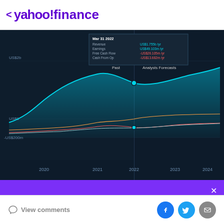< yahoo!finance
[Figure (continuous-plot): Yahoo Finance area/line chart showing Revenue, Earnings, Free Cash Flow, and Cash From Op from 2019 to 2024 with Analysts Forecasts. Tooltip shows Mar 31 2022 data: Revenue US$1.755b/yr, Earnings US$49.103m/yr, Free Cash Flow -US$26.105m/yr, Cash From Op -US$13.682m/yr. Y-axis labels: US$2b (top), US$0, -US$200m. X-axis: 2020, 2021, 2022, 2023, 2024. Past and Analysts Forecasts sections divided at 2022.]
SIGN UP NOW:
News that makes you smarter and richer... For free.
View comments